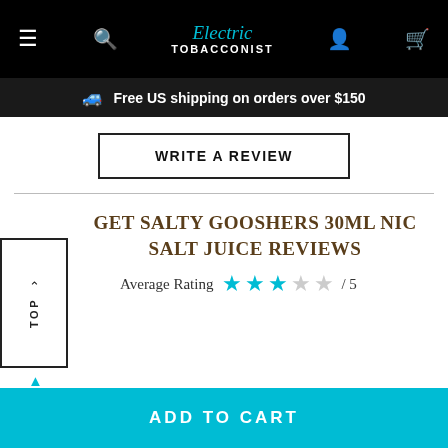Electric Tobacconist — navigation bar with menu, search, account, and cart icons
Free US shipping on orders over $150
WRITE A REVIEW
GET SALTY GOOSHERS 30ML NIC SALT JUICE REVIEWS
Average Rating ★★★☆☆ / 5
↑ TOP
ADD TO CART